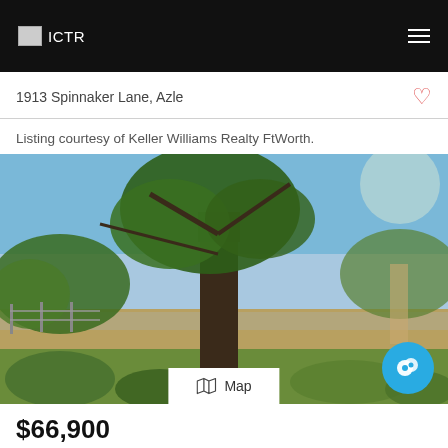ICTR
1913 Spinnaker Lane, Azle
Listing courtesy of Keller Williams Realty FtWorth.
[Figure (photo): Outdoor property photo showing large oak trees in foreground with open field, fence, and road visible in the background under a partly cloudy sky.]
$66,900